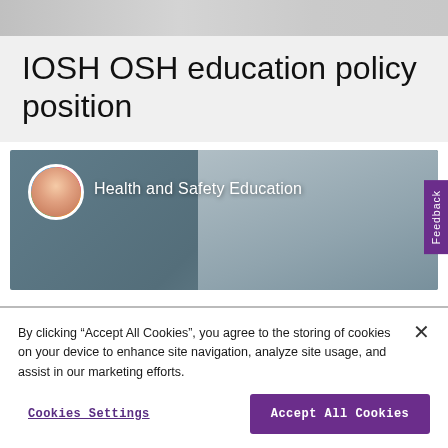[Figure (photo): Top banner image - blurred desk/workspace scene, light gray]
IOSH OSH education policy position
[Figure (screenshot): Video thumbnail showing 'Health and Safety Education' with an avatar/profile image on left and elderly man in white coat on right, dark background]
By clicking “Accept All Cookies”, you agree to the storing of cookies on your device to enhance site navigation, analyze site usage, and assist in our marketing efforts.
Cookies Settings
Accept All Cookies